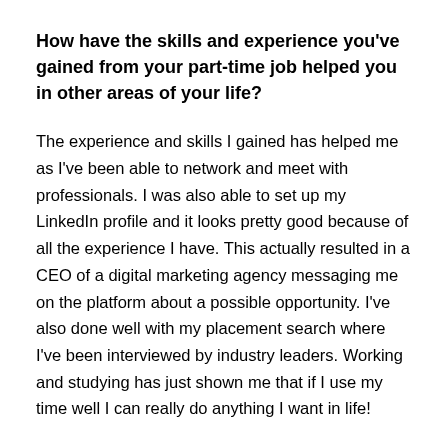How have the skills and experience you've gained from your part-time job helped you in other areas of your life?
The experience and skills I gained has helped me as I've been able to network and meet with professionals. I was also able to set up my LinkedIn profile and it looks pretty good because of all the experience I have. This actually resulted in a CEO of a digital marketing agency messaging me on the platform about a possible opportunity. I've also done well with my placement search where I've been interviewed by industry leaders. Working and studying has just shown me that if I use my time well I can really do anything I want in life!